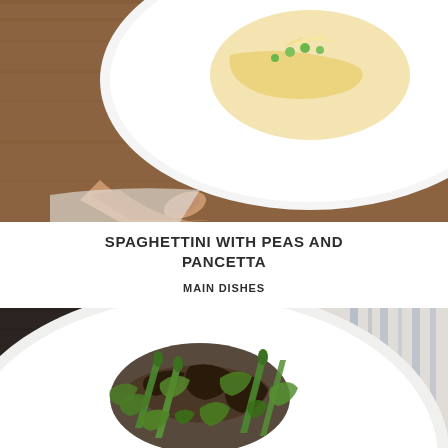[Figure (photo): Overhead view of a hand holding a white plate with spaghettini pasta, peas, and shredded cheese on a wooden table]
SPAGHETTINI WITH PEAS AND PANCETTA
MAIN DISHES
[Figure (photo): Overhead view of a white oval plate with roasted mushrooms, asparagus, and arugula salad on a dark wooden table with a striped linen napkin]